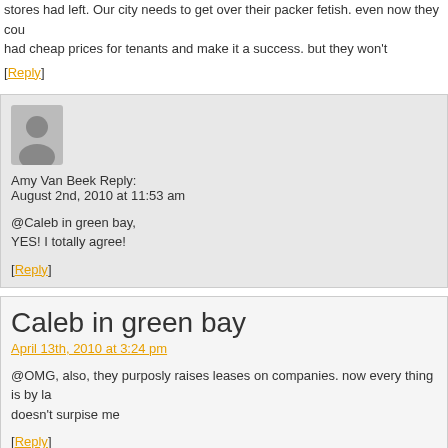stores had left. Our city needs to get over their packer fetish. even now they cou had cheap prices for tenants and make it a success. but they won't
[Reply]
Amy Van Beek Reply:
August 2nd, 2010 at 11:53 am

@Caleb in green bay,
YES! I totally agree!

[Reply]
Caleb in green bay
April 13th, 2010 at 3:24 pm
@OMG, also, they purposly raises leases on companies. now every thing is by la doesn't surpise me
[Reply]